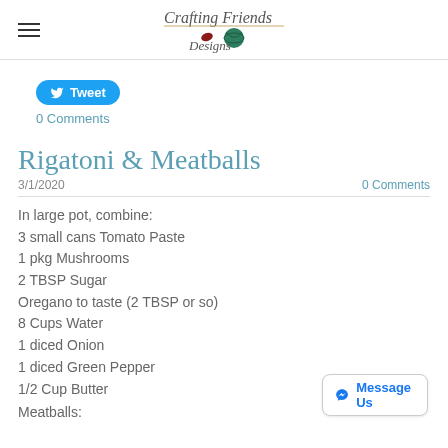Crafting Friends Designs
[Figure (logo): Crafting Friends Designs logo with bird and yarn ball]
Tweet
0 Comments
Rigatoni & Meatballs
3/1/2020
0 Comments
In large pot, combine:
3 small cans Tomato Paste
1 pkg Mushrooms
2 TBSP Sugar
Oregano to taste (2 TBSP or so)
8 Cups Water
1 diced Onion
1 diced Green Pepper
1/2 Cup Butter
Meatballs: